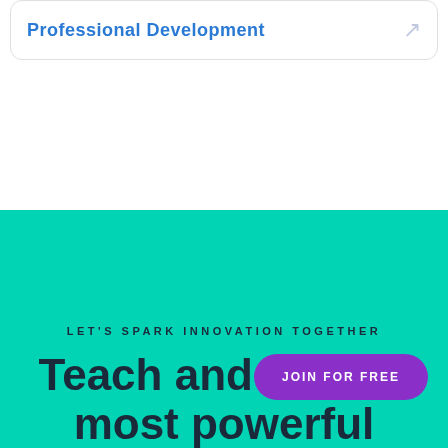Professional Development
LET'S SPARK INNOVATION TOGETHER
Teach and inspire most powerful
JOIN FOR FREE